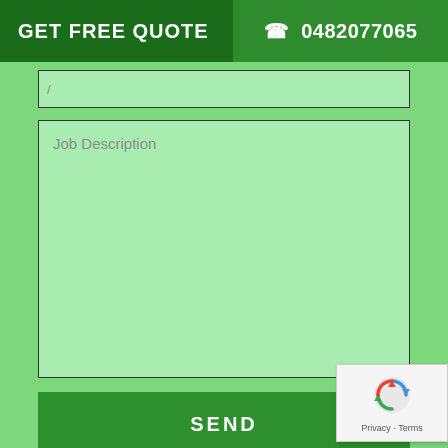GET FREE QUOTE  ☎ 0482077065
Job Description
SEND
[Figure (other): reCAPTCHA badge with recycling arrow logo and Privacy · Terms text]